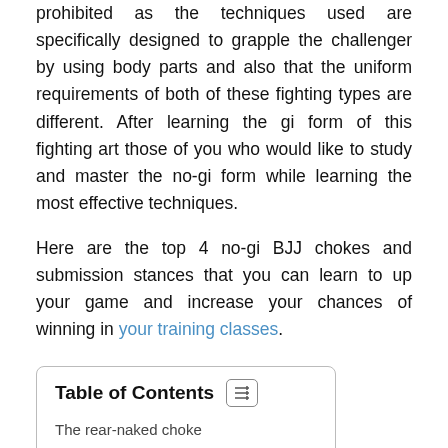prohibited as the techniques used are specifically designed to grapple the challenger by using body parts and also that the uniform requirements of both of these fighting types are different. After learning the gi form of this fighting art those of you who would like to study and master the no-gi form while learning the most effective techniques.
Here are the top 4 no-gi BJJ chokes and submission stances that you can learn to up your game and increase your chances of winning in your training classes.
| Table of Contents |
| --- |
| The rear-naked choke |
| Straight Guillitone |
| The arm triangle |
| The anaconda choke |
The rear-naked choke